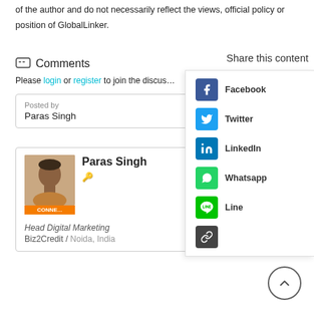of the author and do not necessarily reflect the views, official policy or position of GlobalLinker.
Comments
Please login or register to join the discus…
| Posted by | Paras Singh |
[Figure (other): Profile card for Paras Singh, Head Digital Marketing at Biz2Credit / Noida, India with CONNECT badge and avatar]
Share this content
Facebook
Twitter
LinkedIn
Whatsapp
Line
Copy link